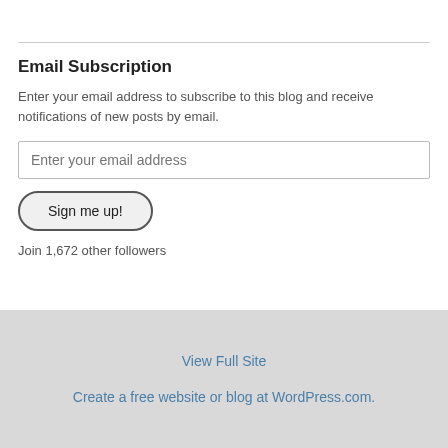Email Subscription
Enter your email address to subscribe to this blog and receive notifications of new posts by email.
Enter your email address
Sign me up!
Join 1,672 other followers
View Full Site
Create a free website or blog at WordPress.com.